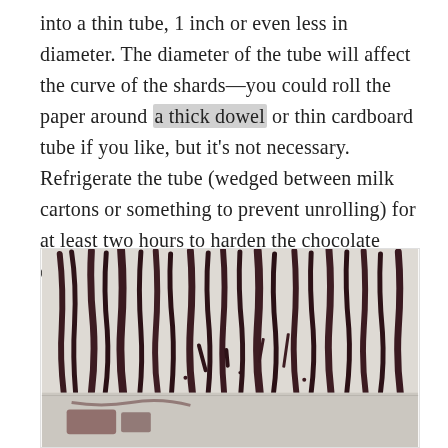into a thin tube, 1 inch or even less in diameter. The diameter of the tube will affect the curve of the shards—you could roll the paper around a thick dowel or thin cardboard tube if you like, but it's not necessary. Refrigerate the tube (wedged between milk cartons or something to prevent unrolling) for at least two hours to harden the chocolate completely.
[Figure (photo): Top-down photo of chocolate shards/strips laid out on white parchment paper, showing long dark chocolate curls and pieces in various sizes]